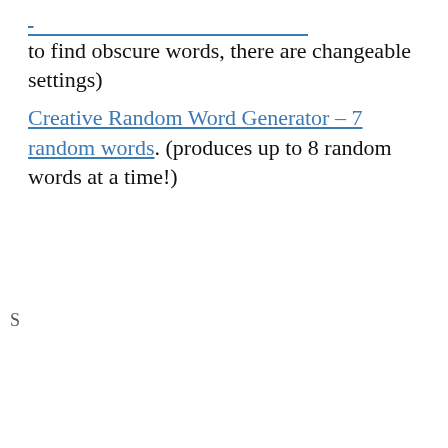(... only) to find obscure words, there are changeable settings)
Creative Random Word Generator – 7 random words. (produces up to 8 random words at a time!)
Privacy & Cookies: This site uses cookies. By continuing to use this website, you agree to their use. To find out more, including how to control cookies, see here: Cookie Policy
Close and accept